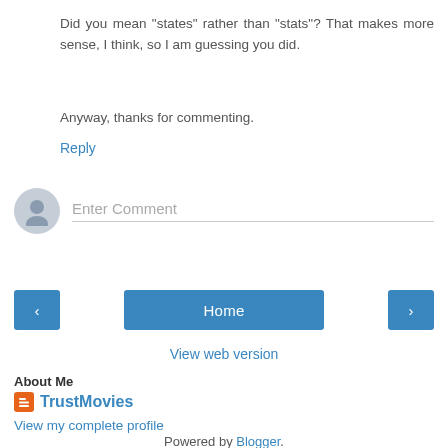Did you mean "states" rather than "stats"? That makes more sense, I think, so I am guessing you did.
Anyway, thanks for commenting.
Reply
[Figure (other): Comment input area with avatar icon and placeholder text 'Enter Comment']
[Figure (other): Navigation buttons: left arrow, Home, right arrow]
View web version
About Me
TrustMovies
View my complete profile
Powered by Blogger.